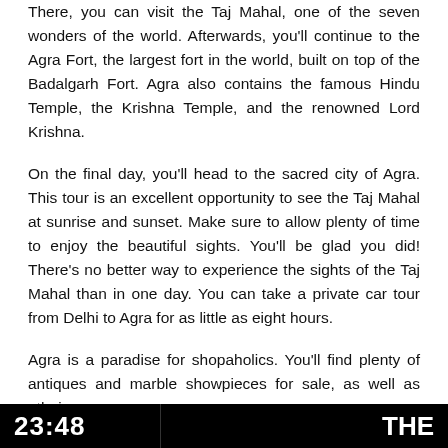There, you can visit the Taj Mahal, one of the seven wonders of the world. Afterwards, you'll continue to the Agra Fort, the largest fort in the world, built on top of the Badalgarh Fort. Agra also contains the famous Hindu Temple, the Krishna Temple, and the renowned Lord Krishna.
On the final day, you'll head to the sacred city of Agra. This tour is an excellent opportunity to see the Taj Mahal at sunrise and sunset. Make sure to allow plenty of time to enjoy the beautiful sights. You'll be glad you did! There's no better way to experience the sights of the Taj Mahal than in one day. You can take a private car tour from Delhi to Agra for as little as eight hours.
Agra is a paradise for shopaholics. You'll find plenty of antiques and marble showpieces for sale, as well as ethnic
23:48   THE